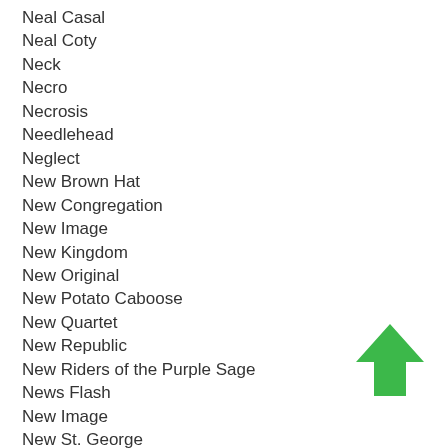Neal Casal
Neal Coty
Neck
Necro
Necrosis
Needlehead
Neglect
New Brown Hat
New Congregation
New Image
New Kingdom
New Original
New Potato Caboose
New Quartet
New Republic
New Riders of the Purple Sage
News Flash
New Image
New St. George
[Figure (illustration): Green upward-pointing arrow icon]